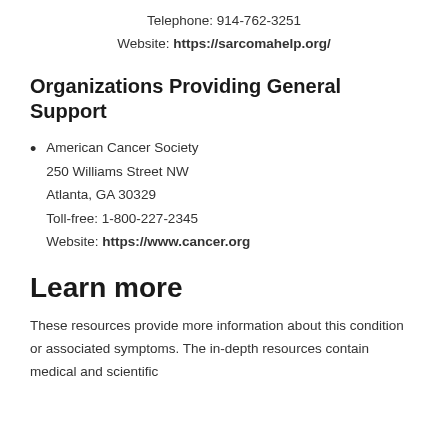Telephone: 914-762-3251
Website: https://sarcomahelp.org/
Organizations Providing General Support
American Cancer Society
250 Williams Street NW
Atlanta, GA 30329
Toll-free: 1-800-227-2345
Website: https://www.cancer.org
Learn more
These resources provide more information about this condition or associated symptoms. The in-depth resources contain medical and scientific